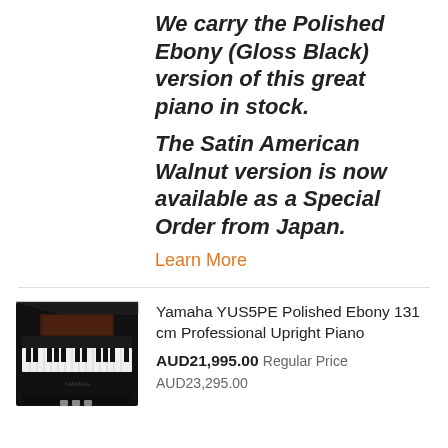We carry the Polished Ebony (Gloss Black) version of this great piano in stock.
The Satin American Walnut version is now available as a Special Order from Japan.
Learn More
[Figure (photo): Yamaha upright piano in polished ebony finish, front view showing keyboard and music stand]
Yamaha YUS5PE Polished Ebony 131 cm Professional Upright Piano
AUD21,995.00 Regular Price AUD23,295.00